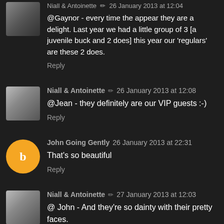@Gaynor - every time the appear they are a delight. Last year we had a little group of 3 [a juvenile buck and 2 does] this year our 'regulars' are these 2 does.
Reply
Niall & Antoinette ✏ 26 January 2013 at 12:08
@Jean - they definitely are our VIP guests :-)
Reply
John Going Gently 26 January 2013 at 22:31
That's so beautiful
Reply
Niall & Antoinette ✏ 27 January 2013 at 12:03
@ John - And they're so dainty with their pretty faces.
Reply